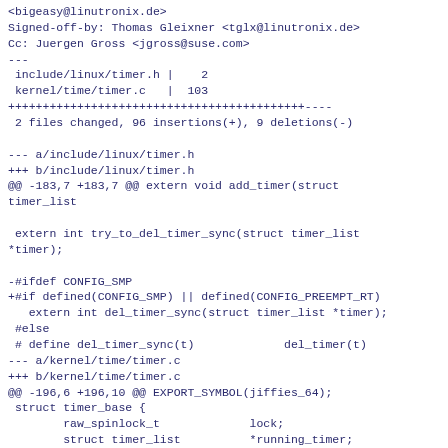<bigeasy@linutronix.de>
Signed-off-by: Thomas Gleixner <tglx@linutronix.de>
Cc: Juergen Gross <jgross@suse.com>
---
 include/linux/timer.h |    2
 kernel/time/timer.c   |  103
+++++++++++++++++++++++++++++++++++++++++++----
 2 files changed, 96 insertions(+), 9 deletions(-)

--- a/include/linux/timer.h
+++ b/include/linux/timer.h
@@ -183,7 +183,7 @@ extern void add_timer(struct
timer_list

 extern int try_to_del_timer_sync(struct timer_list
*timer);

-#ifdef CONFIG_SMP
+#if defined(CONFIG_SMP) || defined(CONFIG_PREEMPT_RT)
   extern int del_timer_sync(struct timer_list *timer);
 #else
 # define del_timer_sync(t)             del_timer(t)
--- a/kernel/time/timer.c
+++ b/kernel/time/timer.c
@@ -196,6 +196,10 @@ EXPORT_SYMBOL(jiffies_64);
 struct timer_base {
        raw_spinlock_t             lock;
        struct timer_list          *running_timer;
+#ifdef CONFIG_PREEMPT_RT
+       spinlock_t                 expiry_lock;